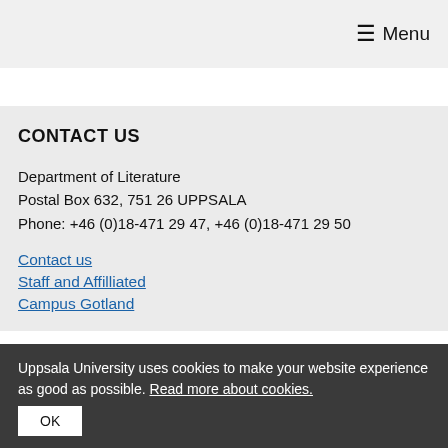≡ Menu
CONTACT US
Department of Literature
Postal Box 632, 751 26 UPPSALA
Phone: +46 (0)18-471 29 47, +46 (0)18-471 29 50
Contact us
Staff and Affilliated
Campus Gotland
Uppsala University uses cookies to make your website experience as good as possible. Read more about cookies.